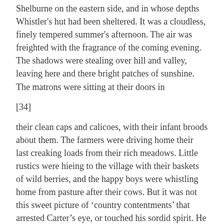Shelburne on the eastern side, and in whose depths Whistler's hut had been sheltered. It was a cloudless, finely tempered summer's afternoon. The air was freighted with the fragrance of the coming evening. The shadows were stealing over hill and valley, leaving here and there bright patches of sunshine. The matrons were sitting at their doors in
[34]
their clean caps and calicoes, with their infant broods about them. The farmers were driving home their last creaking loads from their rich meadows. Little rustics were hieing to the village with their baskets of wild berries, and the happy boys were whistling home from pasture after their cows. But it was not this sweet picture of ‘country contentments’ that arrested Carter’s eye, or touched his sordid spirit. He had paused on that eminence to gaze on the light blue smoke that rose from the ruins of poor Whistler’s dwelling, and curled over the wood as if some instinct made it linger there. It was a feeling, as paltry as malignant, that made him exult in a triumph over such an enemy. Had he been at that moment inspired with one hour’s prescience, how would his exultation have been changed to fear and